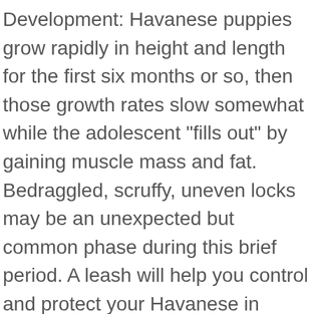Development: Havanese puppies grow rapidly in height and length for the first six months or so, then those growth rates slow somewhat while the adolescent "fills out" by gaining muscle mass and fat. Bedraggled, scruffy, uneven locks may be an unexpected but common phase during this brief period. A leash will help you control and protect your Havanese in these situations. In terms of shedding and drooling, these dogs don't need too much care. The body is longer than tall; they have drop ears and a tail that curls over the back. The Havanese is a very healthy breed with a life expectancy of about 14 to 15 years. Puppy growth is not quite so fast now. The Havanese is a highly social and loving dog. Sometimes a doggy door is necessary so the dog can go out whenever he needs to (though that can lead to another problem if he stays